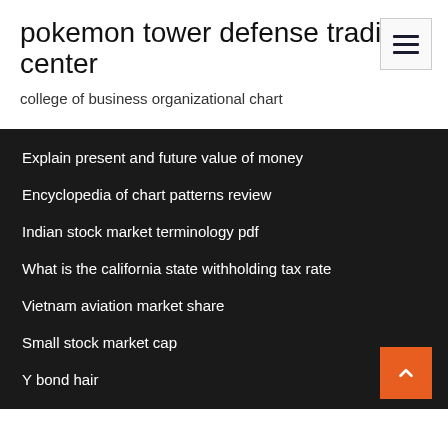pokemon tower defense trading center
college of business organizational chart
Explain present and future value of money
Encyclopedia of chart patterns review
Indian stock market terminology pdf
What is the california state withholding tax rate
Vietnam aviation market share
Small stock market cap
Y bond hair
Mt gox btc chart